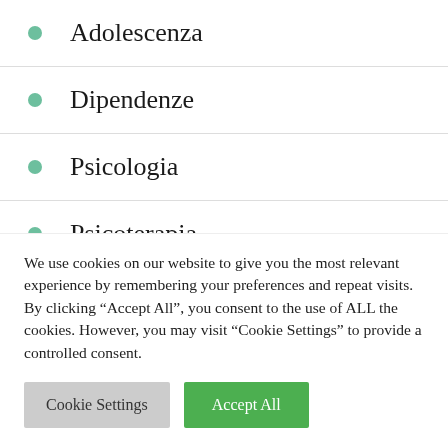Adolescenza
Dipendenze
Psicologia
Psicoterapia
SARS-CoV-2
We use cookies on our website to give you the most relevant experience by remembering your preferences and repeat visits. By clicking “Accept All”, you consent to the use of ALL the cookies. However, you may visit “Cookie Settings” to provide a controlled consent.
Cookie Settings | Accept All